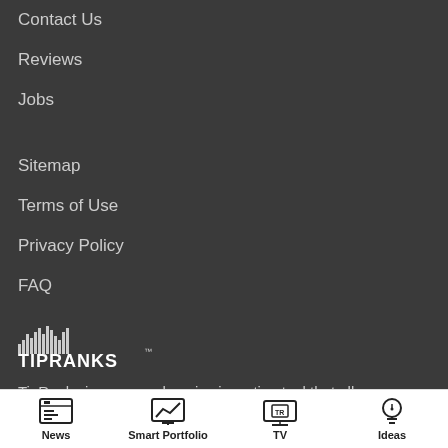Contact Us
Reviews
Jobs
Sitemap
Terms of Use
Privacy Policy
FAQ
[Figure (logo): TipRanks logo with bar chart graphic and wordmark]
TipRanks is a comprehensive investing tool that allows private investors and day traders to see the measured performance of anyone who provides financial advice.
News | Smart Portfolio | TV | Ideas